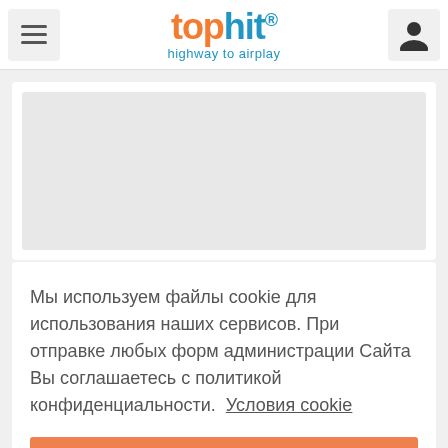[Figure (logo): TopHit logo with 'top' in orange and 'hit' in blue with registered trademark symbol, subtitle 'highway to airplay' in blue]
[Figure (other): Gray rectangular image placeholder area]
Мы используем файлы cookie для использования наших сервисов. При отправке любых форм администрации Сайта Вы соглашаетесь с политикой конфиденциальности.  Условия cookie
Понятно